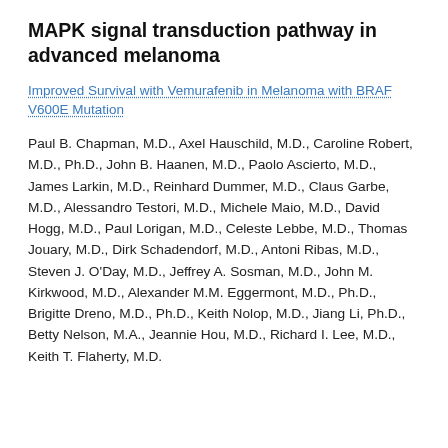MAPK signal transduction pathway in advanced melanoma
Improved Survival with Vemurafenib in Melanoma with BRAF V600E Mutation
Paul B. Chapman, M.D., Axel Hauschild, M.D., Caroline Robert, M.D., Ph.D., John B. Haanen, M.D., Paolo Ascierto, M.D., James Larkin, M.D., Reinhard Dummer, M.D., Claus Garbe, M.D., Alessandro Testori, M.D., Michele Maio, M.D., David Hogg, M.D., Paul Lorigan, M.D., Celeste Lebbe, M.D., Thomas Jouary, M.D., Dirk Schadendorf, M.D., Antoni Ribas, M.D., Steven J. O'Day, M.D., Jeffrey A. Sosman, M.D., John M. Kirkwood, M.D., Alexander M.M. Eggermont, M.D., Ph.D., Brigitte Dreno, M.D., Ph.D., Keith Nolop, M.D., Jiang Li, Ph.D., Betty Nelson, M.A., Jeannie Hou, M.D., Richard I. Lee, M.D., Keith T. Flaherty, M.D.